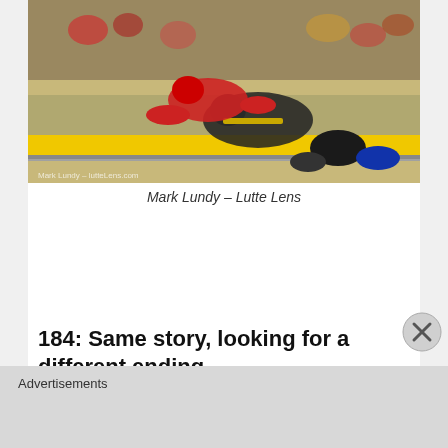[Figure (photo): Two wrestlers on a mat with yellow border. One wrestler in red pinning the other in black on the mat floor.]
Mark Lundy – Lutte Lens
184: Same story, looking for a different ending
Stop me if you have heard this one before, but Sammy Brooks is off to a red hot start for the Hawkeyes carrying an undefeated streak, including bonus wins in every match, into the Midlands. If this sounds familiar it's because
Advertisements